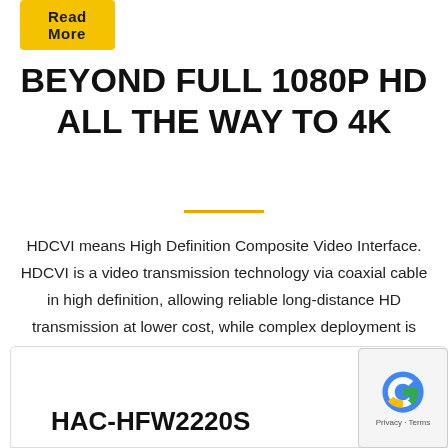[Figure (other): Yellow 'Read More' button at top left]
BEYOND FULL 1080P HD ALL THE WAY TO 4K
HDCVI means High Definition Composite Video Interface. HDCVI is a video transmission technology via coaxial cable in high definition, allowing reliable long-distance HD transmission at lower cost, while complex deployment is applicable.
HAC-HFW2220S